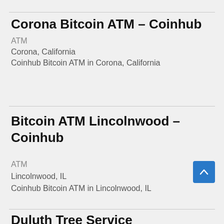Corona Bitcoin ATM – Coinhub
ATM
Corona, California
Coinhub Bitcoin ATM in Corona, California
Bitcoin ATM Lincolnwood – Coinhub
ATM
Lincolnwood, IL
Coinhub Bitcoin ATM in Lincolnwood, IL
Duluth Tree Service